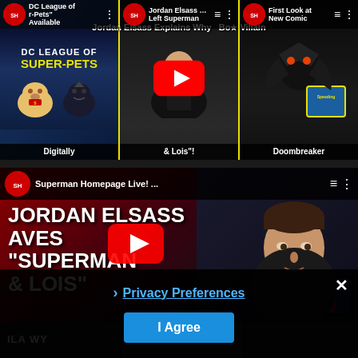[Figure (screenshot): YouTube video strip showing three video thumbnails: 'DC League of Super-Pets Available Digitally', 'Jordan Elsass Explains Why He Left Superman & Lois', 'First Look at New Comic Book Villain Doombreaker'. Middle thumbnail shows YouTube play button overlay.]
Jordan Elsass Explains Why ...
[Figure (screenshot): YouTube video player showing 'JORDAN ELSASS AVES SUPERMAN & LOIS' with Superman Homepage Live! channel header, YouTube play button overlay, and actor photo on right side.]
[Figure (screenshot): Privacy consent overlay with close X button, Privacy Preferences link, and I Agree button in blue.]
Privacy Preferences
I Agree